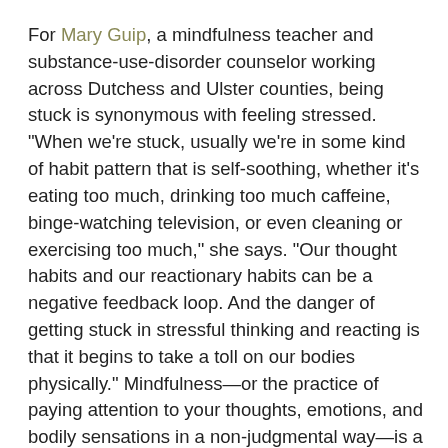For Mary Guip, a mindfulness teacher and substance-use-disorder counselor working across Dutchess and Ulster counties, being stuck is synonymous with feeling stressed. "When we're stuck, usually we're in some kind of habit pattern that is self-soothing, whether it's eating too much, drinking too much caffeine, binge-watching television, or even cleaning or exercising too much," she says. "Our thought habits and our reactionary habits can be a negative feedback loop. And the danger of getting stuck in stressful thinking and reacting is that it begins to take a toll on our bodies physically." Mindfulness—or the practice of paying attention to your thoughts, emotions, and bodily sensations in a non-judgmental way—is a powerful way of dislodging stuck habits and releasing stress on a grand scale.